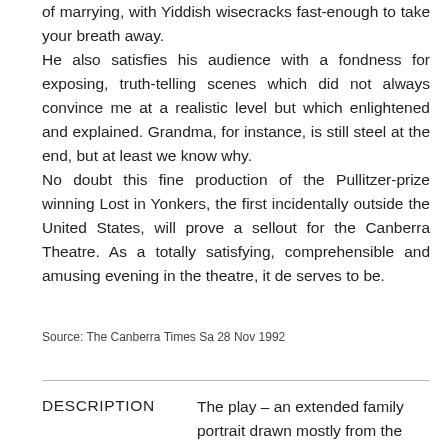of marrying, with Yiddish wisecracks fast-enough to take your breath away. He also satisfies his audience with a fondness for exposing, truth-telling scenes which did not always convince me at a realistic level but which enlightened and explained. Grandma, for instance, is still steel at the end, but at least we know why. No doubt this fine production of the Pullitzer-prize winning Lost in Yonkers, the first incidentally outside the United States, will prove a sellout for the Canberra Theatre. As a totally satisfying, comprehensible and amusing evening in the theatre, it de serves to be.
Source: The Canberra Times Sa 28 Nov 1992
DESCRIPTION
The play – an extended family portrait drawn mostly from the perspective of